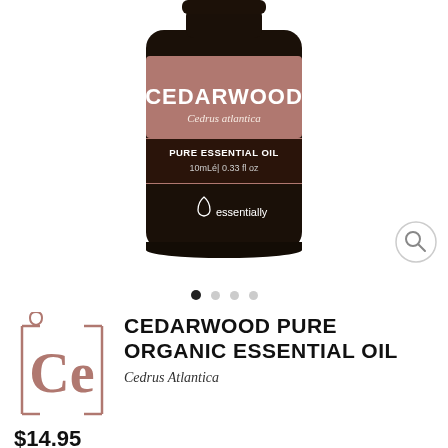[Figure (photo): Dark glass bottle of Cedarwood Pure Essential Oil (Cedrus atlantica) with mauve/pink label, 10mL, 0.33 fl oz, branded 'essentially'. Bottle is shown against white background.]
[Figure (other): Navigation dots — four dots, first (leftmost) filled dark, rest light grey, indicating carousel position 1 of 4.]
[Figure (logo): Essentially brand logo: periodic-table style square with 'Ce' in mauve/rosewood color, drop icon above-left, rosewood border lines forming bracket shape.]
CEDARWOOD PURE ORGANIC ESSENTIAL OIL
Cedrus Atlantica
$14.95